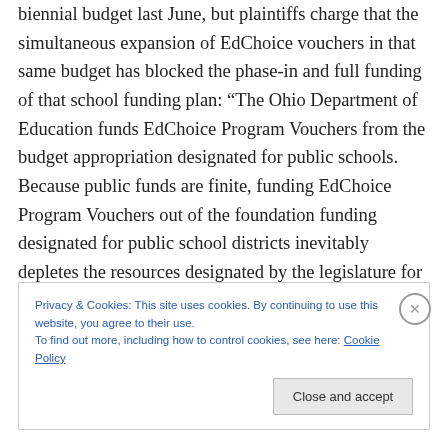biennial budget last June, but plaintiffs charge that the simultaneous expansion of EdChoice vouchers in that same budget has blocked the phase-in and full funding of that school funding plan: “The Ohio Department of Education funds EdChoice Program Vouchers from the budget appropriation designated for public schools. Because public funds are finite, funding EdChoice Program Vouchers out of the foundation funding designated for public school districts inevitably depletes the resources designated by the legislature for educating Ohio’s public school students. H.B. 110 (the state budget
Privacy & Cookies: This site uses cookies. By continuing to use this website, you agree to their use.
To find out more, including how to control cookies, see here: Cookie Policy